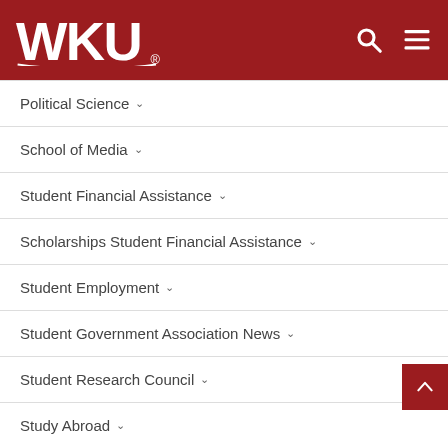[Figure (logo): WKU (Western Kentucky University) white logo on red header bar with search and menu icons]
Political Science
School of Media
Student Financial Assistance
Scholarships Student Financial Assistance
Student Employment
Student Government Association News
Student Research Council
Study Abroad
T/TAS News and Updates
WellU